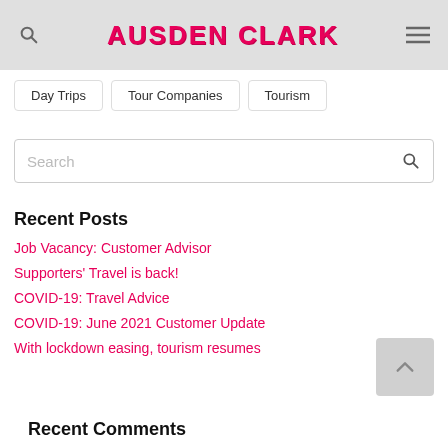AUSDEN CLARK
Day Trips
Tour Companies
Tourism
Search
Recent Posts
Job Vacancy: Customer Advisor
Supporters' Travel is back!
COVID-19: Travel Advice
COVID-19: June 2021 Customer Update
With lockdown easing, tourism resumes
Recent Comments